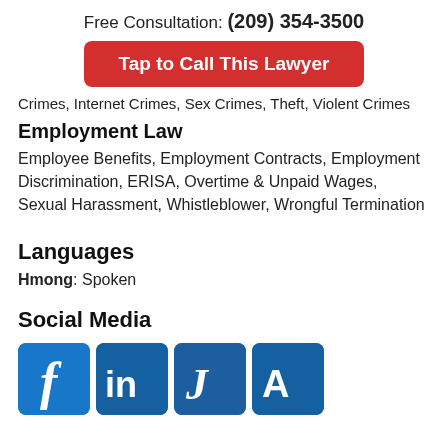Free Consultation: (209) 354-3500
Tap to Call This Lawyer
Crimes, Internet Crimes, Sex Crimes, Theft, Violent Crimes
Employment Law
Employee Benefits, Employment Contracts, Employment Discrimination, ERISA, Overtime & Unpaid Wages, Sexual Harassment, Whistleblower, Wrongful Termination
Languages
Hmong: Spoken
Social Media
[Figure (logo): Social media icons: Facebook, LinkedIn, Justia, Avvo]